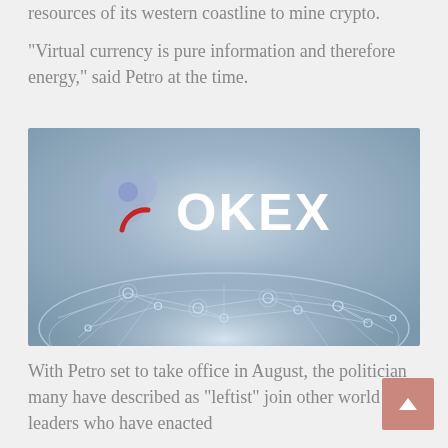resources of its western coastline to mine crypto.
“Virtual currency is pure information and therefore energy,” said Petro at the time.
[Figure (photo): OKEx cryptocurrency exchange logo and brand image with network globe illustration in the background, showing connected nodes on a glowing blue globe surface.]
With Petro set to take office in August, the politician many have described as “leftist” join other world leaders who have enacted